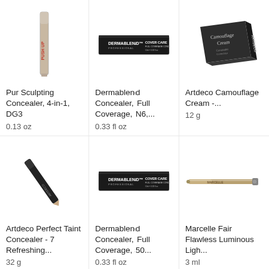[Figure (photo): Pur Sculpting Concealer stick, vertical orientation with 'PUSH UP' text in red on side, beige/grey color]
Pur Sculpting Concealer, 4-in-1, DG3
0.13 oz
[Figure (photo): Dermablend Cover Care Full Coverage concealer box, black rectangular box with white branding]
Dermablend Concealer, Full Coverage, N6,...
0.33 fl oz
[Figure (photo): Artdeco Camouflage Cream box, dark grey/black box with 'Camouflage Cream' and 'ARTDECO' branding]
Artdeco Camouflage Cream -...
12 g
[Figure (photo): Artdeco Perfect Taint Concealer stick, black diagonal pencil/stick shape]
Artdeco Perfect Taint Concealer - 7 Refreshing...
32 g
[Figure (photo): Dermablend Cover Care Full Coverage concealer box, black rectangular box with white branding]
Dermablend Concealer, Full Coverage, 50...
0.33 fl oz
[Figure (photo): Marcelle Fair Flawless Luminous Light concealer, thin metallic pen/stick shape]
Marcelle Fair Flawless Luminous Ligh...
3 ml